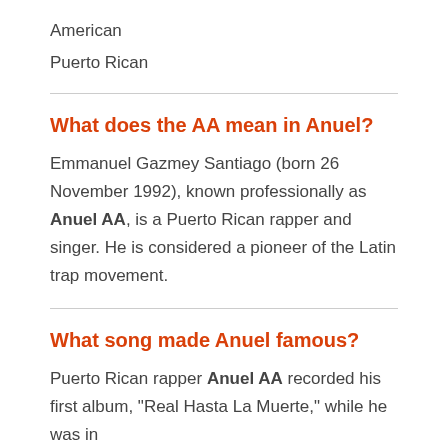American
Puerto Rican
What does the AA mean in Anuel?
Emmanuel Gazmey Santiago (born 26 November 1992), known professionally as Anuel AA, is a Puerto Rican rapper and singer. He is considered a pioneer of the Latin trap movement.
What song made Anuel famous?
Puerto Rican rapper Anuel AA recorded his first album, "Real Hasta La Muerte," while he was in